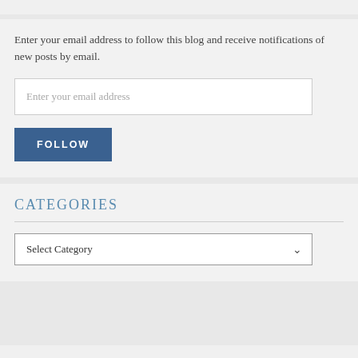Enter your email address to follow this blog and receive notifications of new posts by email.
[Figure (screenshot): Email input text field with placeholder 'Enter your email address']
[Figure (screenshot): FOLLOW button in dark blue]
CATEGORIES
[Figure (screenshot): Select Category dropdown selector]